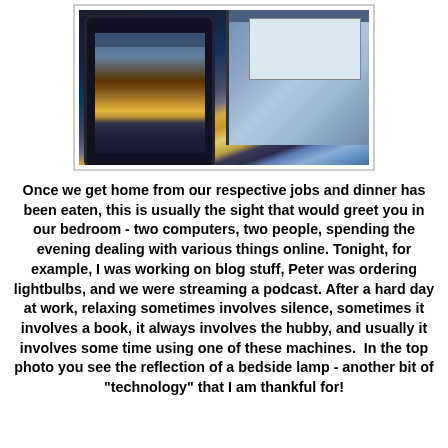[Figure (photo): Photo showing a tablet and a laptop side by side on a bed, with browser windows open on both screens. The tablet screen shows a reflection of a bedside lamp with a warm golden glow.]
Once we get home from our respective jobs and dinner has been eaten, this is usually the sight that would greet you in our bedroom - two computers, two people, spending the evening dealing with various things online. Tonight, for example, I was working on blog stuff, Peter was ordering lightbulbs, and we were streaming a podcast. After a hard day at work, relaxing sometimes involves silence, sometimes it involves a book, it always involves the hubby, and usually it involves some time using one of these machines.  In the top photo you see the reflection of a bedside lamp - another bit of "technology" that I am thankful for!